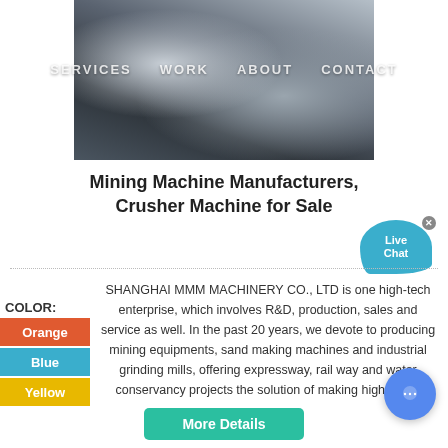[Figure (photo): Photo of industrial mining/crusher machinery equipment outdoors]
SERVICES   WORK         ABOUT   CONTACT
Mining Machine Manufacturers, Crusher Machine for Sale
[Figure (other): Live Chat bubble icon in blue]
SHANGHAI MMM MACHINERY CO., LTD is one high-tech enterprise, which involves R&D, production, sales and service as well. In the past 20 years, we devote to producing mining equipments, sand making machines and industrial grinding mills, offering expressway, rail way and water conservancy projects the solution of making high grade
COLOR:
Orange
Blue
Yellow
More Details